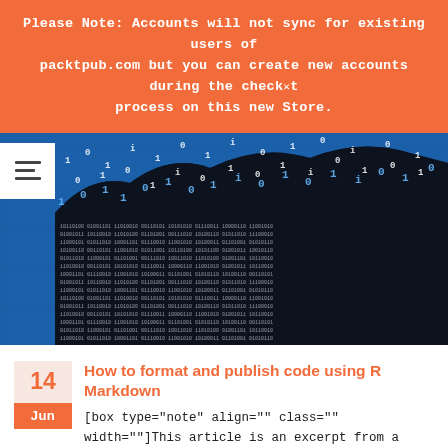Please Note: Accounts will not sync for existing users of packtpub.com but you can create new accounts during the checkout process on this new Store.
[Figure (photo): Hero image showing binary code / data visualization with blue background and dark text overlay showing 0s and 1s forming a wave pattern]
How to format and publish code using R Markdown
[box type="note" align="" class="" width=""]This article is an excerpt from a book written by Ahmed Sherif titled Practical Business Intelligence....
read more >